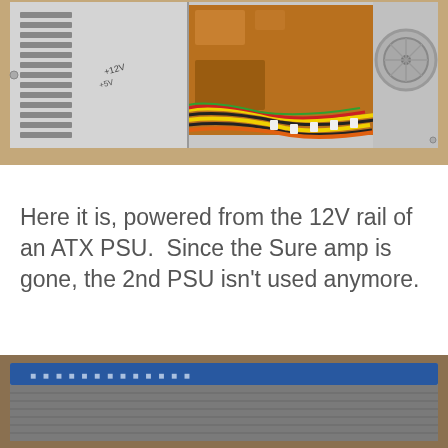[Figure (photo): Interior of a custom computer/electronics enclosure showing an ATX PSU with ventilation slots on the left side, a circuit board with copper PCB in the center-right, colorful wires (yellow, black, red, orange) routed across the bottom, and a circular fan grill on the far right. The unit sits on a wooden surface.]
Here it is, powered from the 12V rail of an ATX PSU.  Since the Sure amp is gone, the 2nd PSU isn't used anymore.
[Figure (photo): Bottom portion of a photo showing a grey/silver electronic amplifier or device with a dark blue stripe along the top edge, sitting on a wooden surface.]